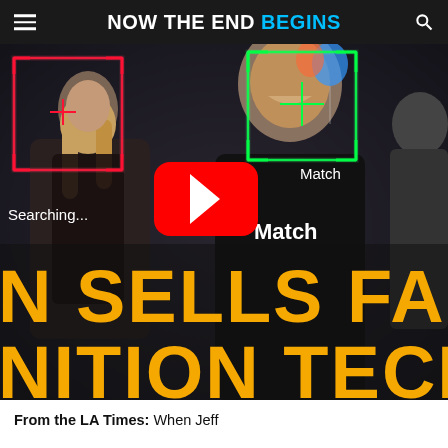NOW THE END BEGINS
[Figure (screenshot): Video thumbnail showing facial recognition technology with red and green detection boxes on faces in a dark scene. Large text overlay reads 'N SELLS FACI' and 'NITION TECH' in orange/gold. YouTube play button visible in center. Text overlays: 'Searching...' and 'Match'.]
From the LA Times: When Jeff